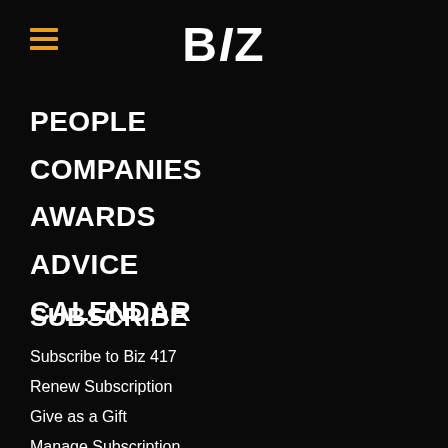BIZ
PEOPLE
COMPANIES
AWARDS
ADVICE
CALENDAR
SUBSCRIBE
Subscribe to Biz 417
Renew Subscription
Give as a Gift
Manage Subscription
Update your Address